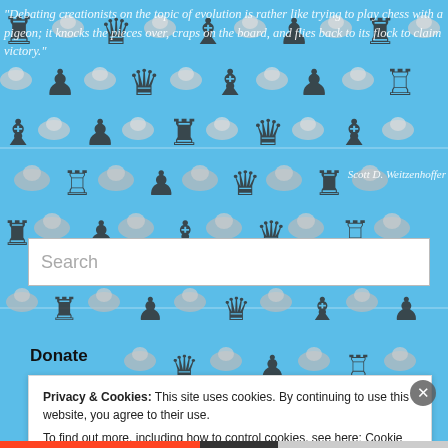[Figure (illustration): Tiled background of alternating chess pieces (rooks, queens, bishops, pawns in dark silhouette) and pigeons on a sky-blue background, with a quote overlaid in white italic text.]
"Debating creationists on the topic of evolution is rather like trying to play chess with a pigeon; it knocks the pieces over, craps on the board, and flies back to its flock to claim victory."
Scott D. Weitzenhoffer
Search
Donate
Privacy & Cookies: This site uses cookies. By continuing to use this website, you agree to their use.
To find out more, including how to control cookies, see here: Cookie Policy
Close and accept